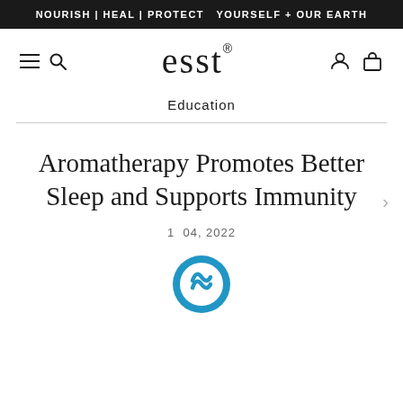NOURISH | HEAL | PROTECT   YOURSELF + OUR EARTH
[Figure (logo): esst brand logo in serif font with registered trademark symbol]
Education
Aromatherapy Promotes Better Sleep and Supports Immunity
1  04, 2022
[Figure (logo): Blue circular icon/logo at bottom of page]